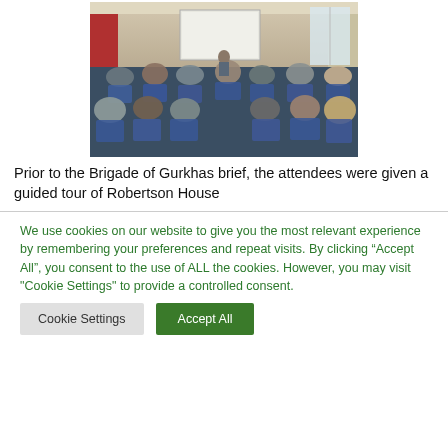[Figure (photo): A conference room with people seated in chairs arranged in rows, facing a presenter at the front near a projector screen. The room has a formal setting with blue carpet and chairs.]
Prior to the Brigade of Gurkhas brief, the attendees were given a guided tour of Robertson House
We use cookies on our website to give you the most relevant experience by remembering your preferences and repeat visits. By clicking “Accept All”, you consent to the use of ALL the cookies. However, you may visit "Cookie Settings" to provide a controlled consent.